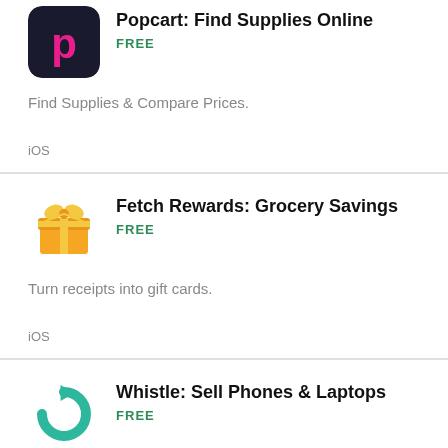[Figure (logo): Popcart app icon - dark navy background with pink letter P]
Popcart: Find Supplies Online
FREE
Find Supplies & Compare Prices.
iOS
[Figure (logo): Fetch Rewards app icon - orange gift box with bow]
Fetch Rewards: Grocery Savings
FREE
Turn receipts into gift cards.
iOS
[Figure (logo): Whistle app icon - teal/green circular arrow]
Whistle: Sell Phones & Laptops
FREE